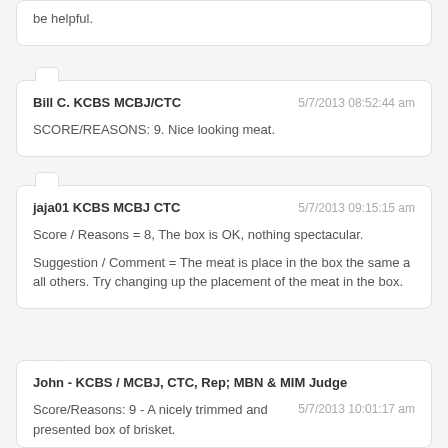be helpful.
Bill C. KCBS MCBJ/CTC
5/7/2013 08:52:44 am
SCORE/REASONS: 9. Nice looking meat.
jaja01 KCBS MCBJ CTC
5/7/2013 09:15:15 am
Score / Reasons = 8, The box is OK, nothing spectacular.
Suggestion / Comment = The meat is place in the box the same a all others. Try changing up the placement of the meat in the box.
John - KCBS / MCBJ, CTC, Rep; MBN & MIM Judge
5/7/2013 10:01:17 am
Score/Reasons: 9 - A nicely trimmed and presented box of brisket.